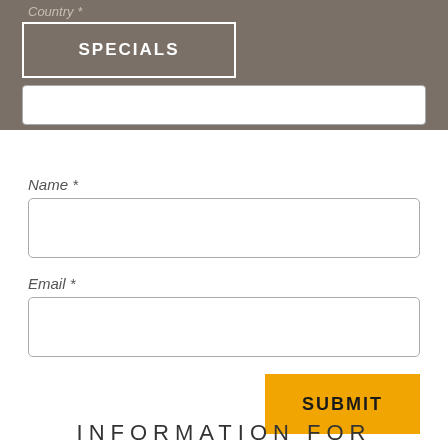Country *
SPECIALS
Name *
Email *
SUBMIT
INFORMATION FOR